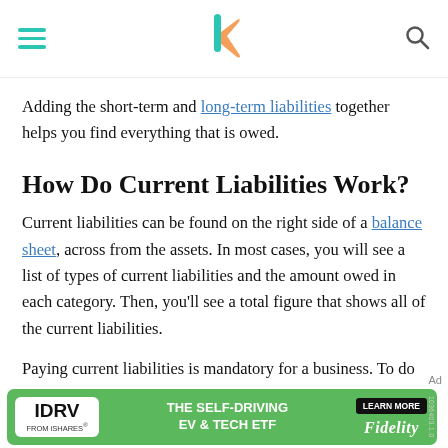[Navigation header with hamburger menu, logo, and search icon]
Adding the short-term and long-term liabilities together helps you find everything that is owed.
How Do Current Liabilities Work?
Current liabilities can be found on the right side of a balance sheet, across from the assets. In most cases, you will see a list of types of current liabilities and the amount owed in each category. Then, you'll see a total figure that shows all of the current liabilities.
Paying current liabilities is mandatory for a business. To do so, it must balance liabilities against current
[Figure (other): Advertisement banner: IDRV FROM iSHARES - THE SELF-DRIVING EV & TECH ETF - LEARN MORE - Fidelity]